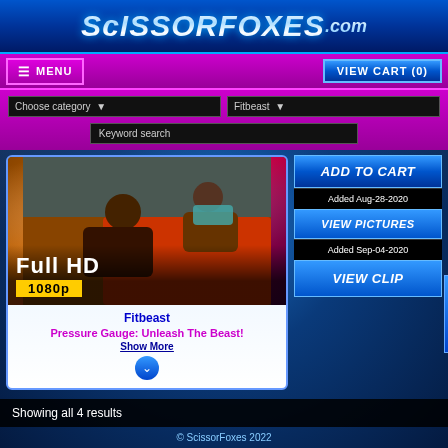ScissorFoxes.com
MENU
VIEW CART (0)
Choose category
Fitbeast
Keyword search
[Figure (photo): Product thumbnail showing wrestling/grappling scene with Full HD 1080p badge overlay]
Fitbeast
Pressure Gauge: Unleash The Beast!
Show More
ADD TO CART
Added Aug-28-2020
VIEW PICTURES
Added Sep-04-2020
VIEW CLIP
MEMBERS
Showing all 4 results
© ScissorFoxes 2022